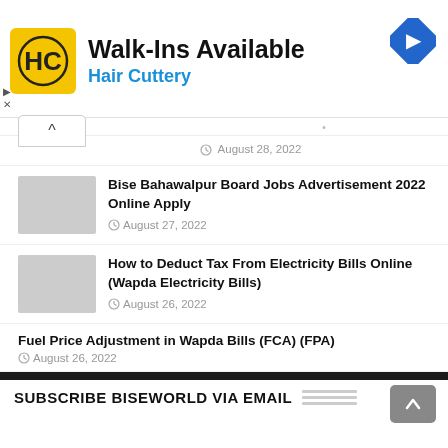[Figure (logo): Hair Cuttery advertisement banner with HC logo, text 'Walk-Ins Available' and 'Hair Cuttery', navigation arrow icon top right]
· August 28, 2022
Bise Bahawalpur Board Jobs Advertisement 2022 Online Apply
August 27, 2022
How to Deduct Tax From Electricity Bills Online (Wapda Electricity Bills)
August 26, 2022
Fuel Price Adjustment in Wapda Bills (FCA) (FPA)
August 26, 2022
SUBSCRIBE BISEWORLD VIA EMAIL